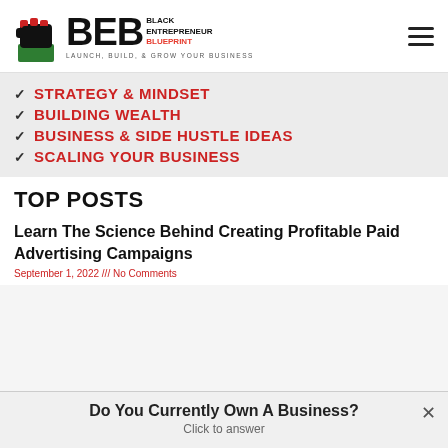[Figure (logo): Black Entrepreneur Blueprint logo with raised fist icon, BEB letters, and tagline LAUNCH, BUILD, & GROW YOUR BUSINESS]
STRATEGY & MINDSET
BUILDING WEALTH
BUSINESS & SIDE HUSTLE IDEAS
SCALING YOUR BUSINESS
TOP POSTS
Learn The Science Behind Creating Profitable Paid Advertising Campaigns
September 1, 2022 /// No Comments
Do You Currently Own A Business? Click to answer